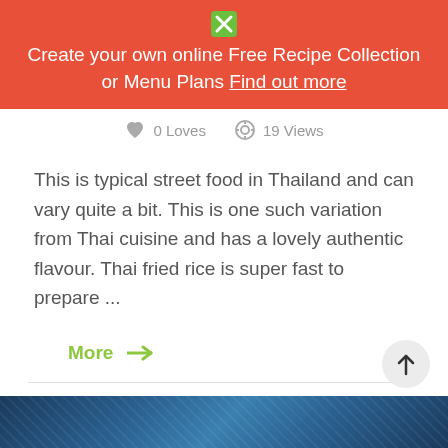[Figure (screenshot): Red/orange banner with close X button, white text: Create your own online Free Recipe Collection or Menu Plans Find out more (underlined)]
0 Loves  19 Views
This is typical street food in Thailand and can vary quite a bit. This is one such variation from Thai cuisine and has a lovely authentic flavour. Thai fried rice is super fast to prepare ...
More →
[Figure (photo): Dark blue image of food at the bottom of the page]